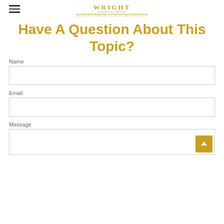[Figure (logo): Wright Financial Group logo with hamburger menu icon on left]
Have A Question About This Topic?
Name
Email
Message